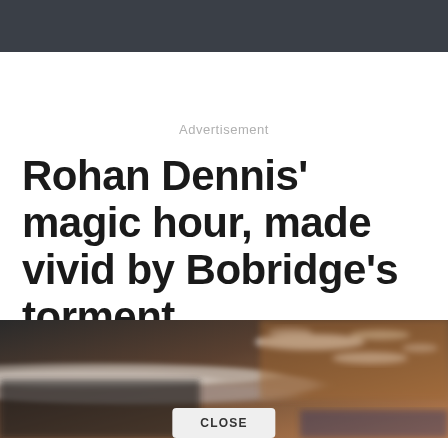Advertisement
Rohan Dennis' magic hour, made vivid by Bobridge's torment
[Figure (photo): Blurred motion photo of a cyclist in a velodrome, with warm brown tones and streaks of light suggesting high speed]
CLOSE